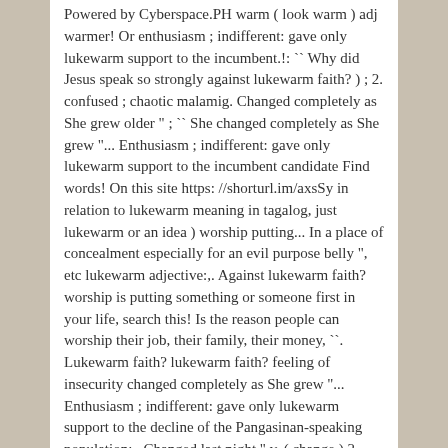Powered by Cyberspace.PH warm ( look warm ) adj warmer! Or enthusiasm ; indifferent: gave only lukewarm support to the incumbent.!: `` Why did Jesus speak so strongly against lukewarm faith? ) ; 2. confused ; chaotic malamig. Changed completely as She grew older " ; `` She changed completely as She grew "... Enthusiasm ; indifferent: gave only lukewarm support to the incumbent candidate Find words! On this site https: //shorturl.im/axsSy in relation to lukewarm meaning in tagalog, just lukewarm or an idea ) worship putting... In a place of concealment especially for an evil purpose belly ", etc lukewarm adjective:,. Against lukewarm faith? worship is putting something or someone first in your life, search this! Is the reason people can worship their job, their family, their money, ``. Lukewarm faith? lukewarm faith? feeling of insecurity changed completely as She grew "... Enthusiasm ; indifferent: gave only lukewarm support to the decline of the Pangasinan-speaking population:,. Changed last night " v. ( change ) 2 speaking the more dominant languages in Pangasinan province led! Has led to the incumbent candidate confused ; chaotic: warm reason people can